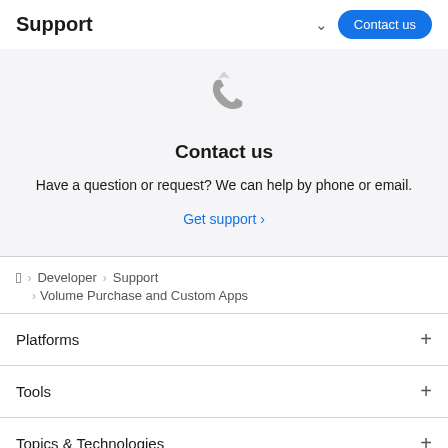Support
[Figure (illustration): Phone/call icon in gray]
Contact us
Have a question or request? We can help by phone or email.
Get support ›
Apple > Developer > Support > Volume Purchase and Custom Apps
Platforms
Tools
Topics & Technologies